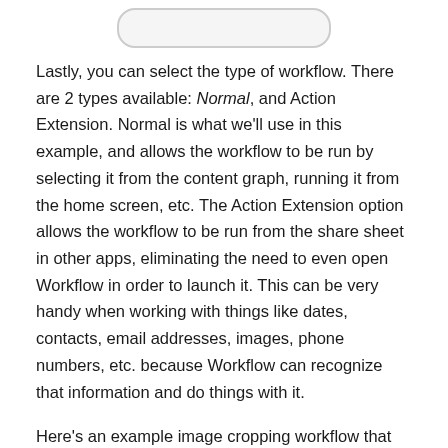[Figure (illustration): Partial bottom edge of a rounded rectangle UI element, likely a button or modal, shown at the top of the page cropped from above.]
Lastly, you can select the type of workflow. There are 2 types available: Normal, and Action Extension. Normal is what we'll use in this example, and allows the workflow to be run by selecting it from the content graph, running it from the home screen, etc. The Action Extension option allows the workflow to be run from the share sheet in other apps, eliminating the need to even open Workflow in order to launch it. This can be very handy when working with things like dates, contacts, email addresses, images, phone numbers, etc. because Workflow can recognize that information and do things with it.
Here's an example image cropping workflow that works great as an action extension.